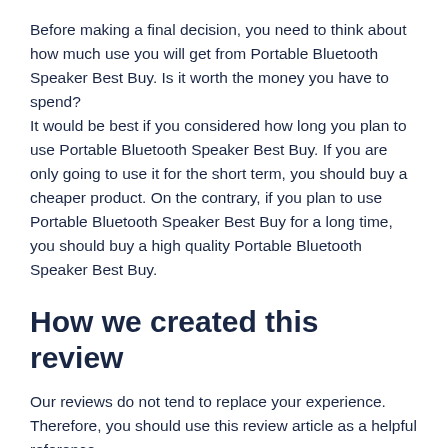Before making a final decision, you need to think about how much use you will get from Portable Bluetooth Speaker Best Buy. Is it worth the money you have to spend?
It would be best if you considered how long you plan to use Portable Bluetooth Speaker Best Buy. If you are only going to use it for the short term, you should buy a cheaper product. On the contrary, if you plan to use Portable Bluetooth Speaker Best Buy for a long time, you should buy a high quality Portable Bluetooth Speaker Best Buy.
How we created this review
Our reviews do not tend to replace your experience. Therefore, you should use this review article as a helpful reference.
The rating in our review is based on E Score. To